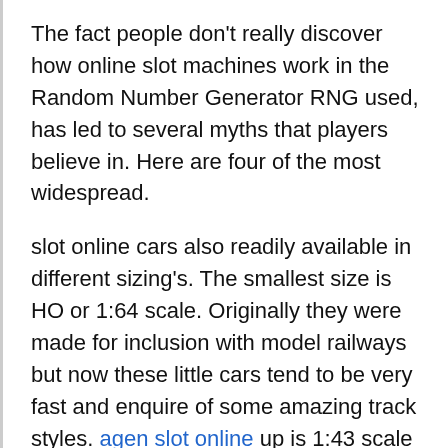The fact people don't really discover how online slot machines work in the Random Number Generator RNG used, has led to several myths that players believe in. Here are four of the most widespread.
slot online cars also readily available in different sizing's. The smallest size is HO or 1:64 scale. Originally they were made for inclusion with model railways but now these little cars tend to be very fast and enquire of some amazing track styles. agen slot online up is 1:43 scale and is for the younger racer several fun features and character cars. The 1:32 scale is a fashionable size car for racing at home and they have a wide choice of cars. Competitors racing in the actual 1:24 scale is...